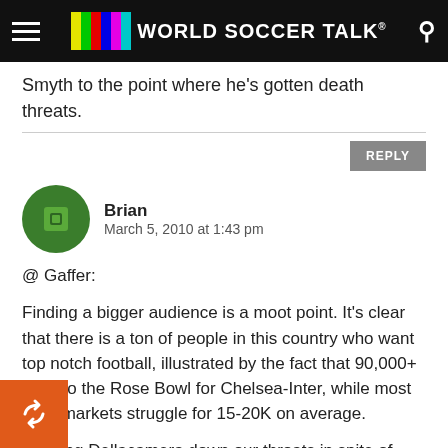World Soccer Talk
Smyth to the point where he's gotten death threats.
REPLY
Brian
March 5, 2010 at 1:43 pm
@ Gaffer:
Finding a bigger audience is a moot point. It's clear that there is a ton of people in this country who want top notch football, illustrated by the fact that 90,000+ went to the Rose Bowl for Chelsea-Inter, while most MLS markets struggle for 15-20K on average.
Shoving Dellacamera down our throats in spite of having better alternatives would be a terrible disservice to those who week in, week out breathe football in this country. ABC/ESPN isn't just doing this for the USA – this is a global